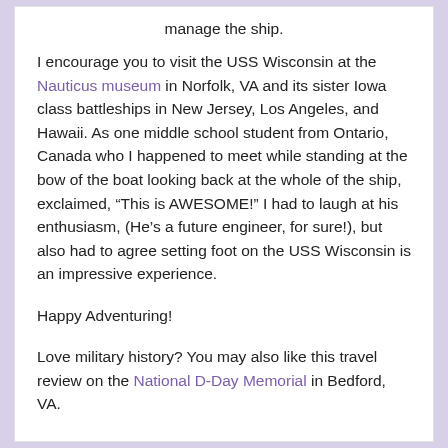manage the ship.
I encourage you to visit the USS Wisconsin at the Nauticus museum in Norfolk, VA and its sister Iowa class battleships in New Jersey, Los Angeles, and Hawaii. As one middle school student from Ontario, Canada who I happened to meet while standing at the bow of the boat looking back at the whole of the ship, exclaimed, “This is AWESOME!” I had to laugh at his enthusiasm, (He’s a future engineer, for sure!), but also had to agree setting foot on the USS Wisconsin is an impressive experience.
Happy Adventuring!
Love military history? You may also like this travel review on the National D-Day Memorial in Bedford, VA.